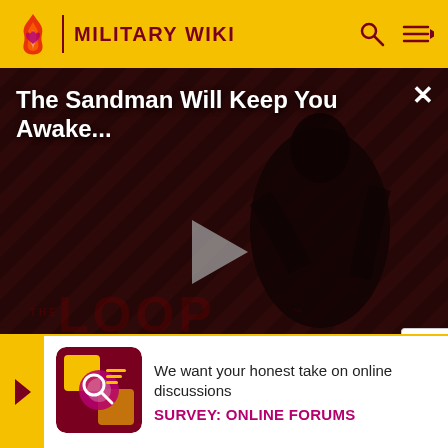MILITARY WIKI
[Figure (screenshot): Video player showing 'The Sandman Will Keep You Awake...' with a play button, dark striped background with a figure in black, and THE LOOP branding. Shows NaN:NaN timestamp.]
Active Duty Civil Affairs
The remaining 4% of civil affairs personnel are active com... Briga... Corps...
We want your honest take on online discussions
SURVEY: ONLINE FORUMS